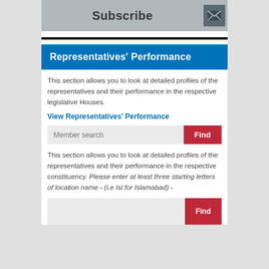[Figure (screenshot): Subscribe button with mail icon on grey background]
Representatives' Performance
This section allows you to look at detailed profiles of the representatives and their performance in the respective legislative Houses.
View Representatives' Performance
[Figure (screenshot): Member search input box with Find button]
This section allows you to look at detailed profiles of the representatives and their performance in the respective constituency. Please enter at least three starting letters of location name - (i.e Isl for Islamabad) -
[Figure (screenshot): Second search input box with Find button (partially visible)]